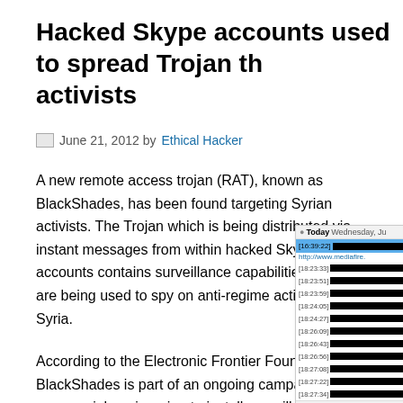Hacked Skype accounts used to spread Trojan th… activists
June 21, 2012 by Ethical Hacker
A new remote access trojan (RAT), known as BlackShades, has been found targeting Syrian activists. The Trojan which is being distributed via instant messages from within hacked Skype accounts contains surveillance capabilities which are being used to spy on anti-regime activists in Syria.
According to the Electronic Frontier Foundation, BlackShades is part of an ongoing campaign which uses social engineering to install surveillance software to spy on Syrian opposition activists. The campaign also includes a numerous phishing attacks which attempt to steal YouTube and Facebook login information.
[Figure (screenshot): Screenshot of a Skype chat window showing timestamped messages from a conversation, with redacted content and a mediafire link. Messages timestamped from [16:39:22] through [18:27:34]. Caption reads (Cr...]